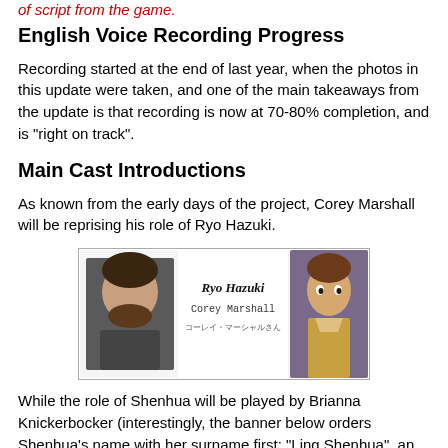of script from the game.
English Voice Recording Progress
Recording started at the end of last year, when the photos in this update were taken, and one of the main takeaways from the update is that recording is now at 70-80% completion, and is "right on track".
Main Cast Introductions
As known from the early days of the project, Corey Marshall will be reprising his role of Ryo Hazuki.
[Figure (photo): Cast introduction card showing a photo of Corey Marshall on the left and a CG render of Ryo Hazuki on the right, with text 'Ryo Hazuki', 'Corey Marshall' and Japanese text コーレイ・マーシャルさん in the center.]
While the role of Shenhua will be played by Brianna Knickerbocker (interestingly, the banner below orders Shenhua's name with her surname first: "Ling Shenhua", an inversion of the name order followed in Shenmue II, but an